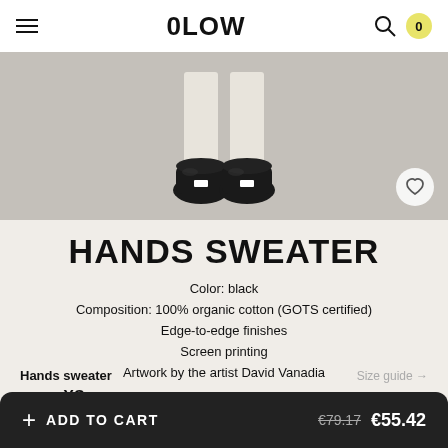0LOW
[Figure (photo): Product photo showing lower half of a person wearing light trousers and black loafers/shoes on a light grey background]
HANDS SWEATER
Color: black
Composition: 100% organic cotton (GOTS certified)
Edge-to-edge finishes
Screen printing
Artwork by the artist David Vanadia
Hands sweater
Size guide →
Size   XS   S   M   L   XL   XXL
+ ADD TO CART   €79.17   €55.42